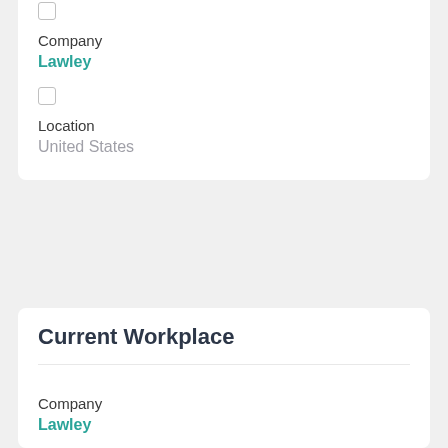Company
Lawley
Location
United States
Current Workplace
Company
Lawley